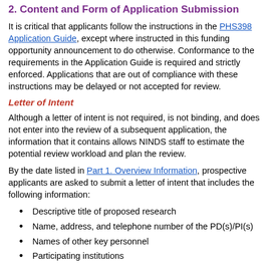2. Content and Form of Application Submission
It is critical that applicants follow the instructions in the PHS398 Application Guide, except where instructed in this funding opportunity announcement to do otherwise. Conformance to the requirements in the Application Guide is required and strictly enforced. Applications that are out of compliance with these instructions may be delayed or not accepted for review.
Letter of Intent
Although a letter of intent is not required, is not binding, and does not enter into the review of a subsequent application, the information that it contains allows NINDS staff to estimate the potential review workload and plan the review.
By the date listed in Part 1. Overview Information, prospective applicants are asked to submit a letter of intent that includes the following information:
Descriptive title of proposed research
Name, address, and telephone number of the PD(s)/PI(s)
Names of other key personnel
Participating institutions